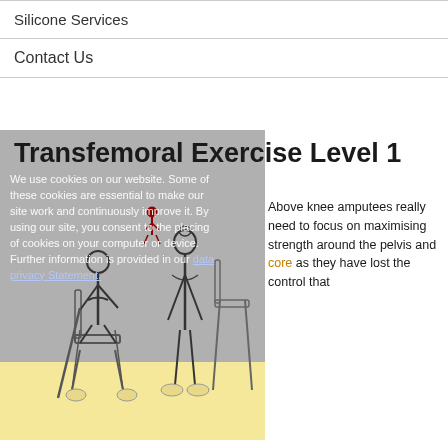Silicone Services
Contact Us
Transfemoral Exercise Level 1
We use cookies on our website. Some of these cookies are essential to make our site work and continuously improve it. By using our site, you consent to the placing of cookies on your computer or device. Further information is provided in our data privacy Statement.
[Figure (illustration): Two illustrated figures: one seated on a chair holding a cane, one standing next to a chair. Yellow strip at bottom. Depicts transfemoral exercises.]
Above knee amputees really need to focus on maximising strength around the pelvis and core as they have lost the control that comes from the knee joint. The stronger these muscles are, the easier it will be to control the knee bend when walking in a